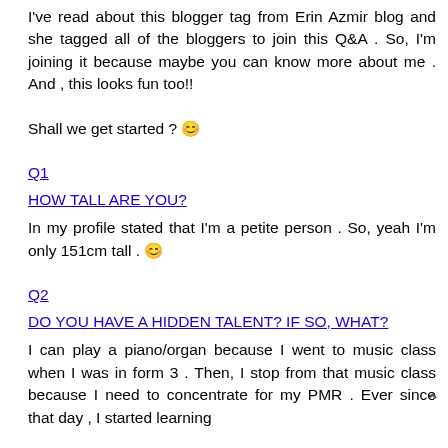I've read about this blogger tag from Erin Azmir blog and she tagged all of the bloggers to join this Q&A . So, I'm joining it because maybe you can know more about me . And , this looks fun too!!
Shall we get started ? 😊
Q1
HOW TALL ARE YOU?
In my profile stated that I'm a petite person . So, yeah I'm only 151cm tall . 😊
Q2
DO YOU HAVE A HIDDEN TALENT? IF SO, WHAT?
I can play a piano/organ because I went to music class when I was in form 3 . Then, I stop from that music class because I need to concentrate for my PMR . Ever since that day , I started learning